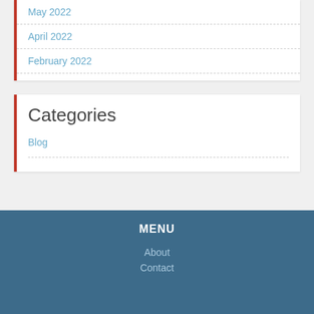May 2022
April 2022
February 2022
Categories
Blog
MENU
About
Contact